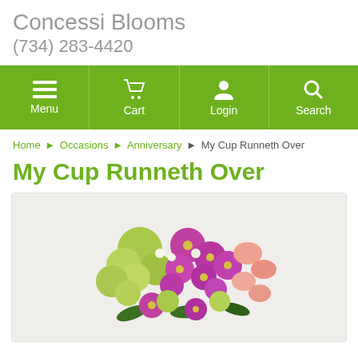Concessi Blooms
(734) 283-4420
Menu | Cart | Login | Search
Home › Occasions › Anniversary › My Cup Runneth Over
My Cup Runneth Over
[Figure (photo): Floral arrangement featuring purple/magenta daisies, pink alstroemeria, green chrysanthemums, and small white filler flowers in a close-cropped bouquet photo]